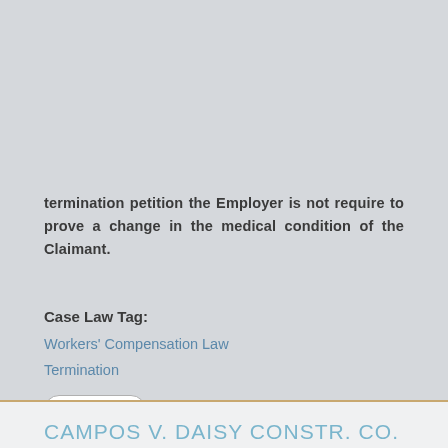termination petition the Employer is not require to prove a change in the medical condition of the Claimant.
Case Law Tag:
Workers' Compensation Law
Termination
read more
CAMPOS V. DAISY CONSTR. CO.